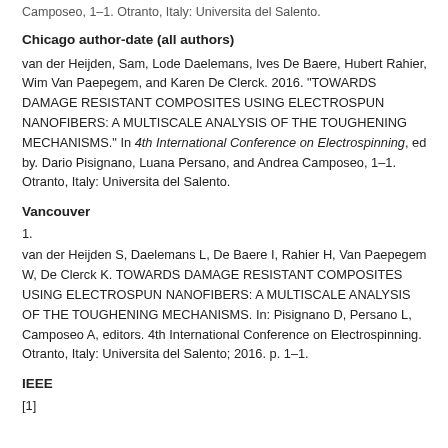Camposeo, 1–1. Otranto, Italy: Universita del Salento.
Chicago author-date (all authors)
van der Heijden, Sam, Lode Daelemans, Ives De Baere, Hubert Rahier, Wim Van Paepegem, and Karen De Clerck. 2016. "TOWARDS DAMAGE RESISTANT COMPOSITES USING ELECTROSPUN NANOFIBERS: A MULTISCALE ANALYSIS OF THE TOUGHENING MECHANISMS." In 4th International Conference on Electrospinning, ed by. Dario Pisignano, Luana Persano, and Andrea Camposeo, 1–1. Otranto, Italy: Universita del Salento.
Vancouver
1.
van der Heijden S, Daelemans L, De Baere I, Rahier H, Van Paepegem W, De Clerck K. TOWARDS DAMAGE RESISTANT COMPOSITES USING ELECTROSPUN NANOFIBERS: A MULTISCALE ANALYSIS OF THE TOUGHENING MECHANISMS. In: Pisignano D, Persano L, Camposeo A, editors. 4th International Conference on Electrospinning. Otranto, Italy: Universita del Salento; 2016. p. 1–1.
IEEE
[1]